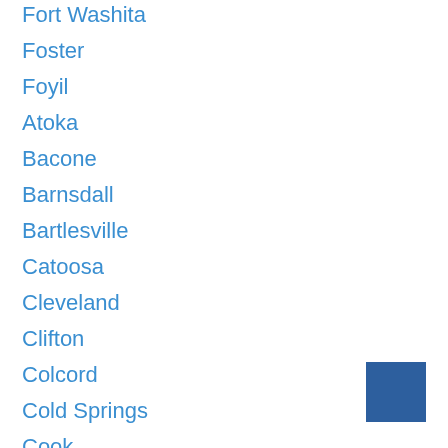Fort Washita
Foster
Foyil
Atoka
Bacone
Barnsdall
Bartlesville
Catoosa
Cleveland
Clifton
Colcord
Cold Springs
Cook
Cookson